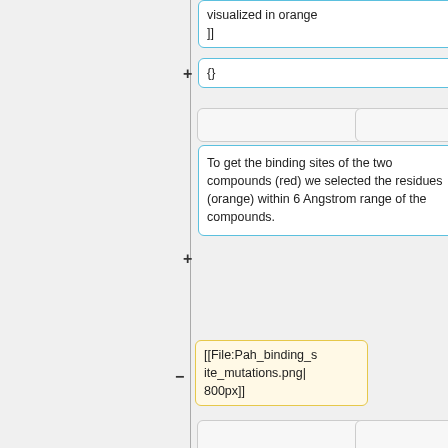visualized in orange
]]
{}
To get the binding sites of the two compounds (red) we selected the residues (orange) within 6 Angstrom range of the compounds.
[[File:Pah_binding_site_mutations.png|800px]]
Binding residues:
{|
{|
| 245
| 245